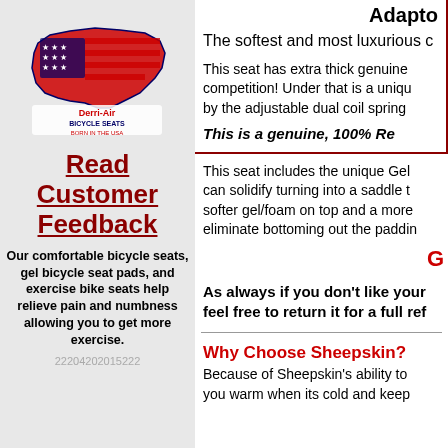[Figure (logo): Derri-Air Bicycle Seats logo with USA map shape, red/white/blue colors, text 'BORN IN THE USA']
Read Customer Feedback
Our comfortable bicycle seats, gel bicycle seat pads, and exercise bike seats help relieve pain and numbness allowing you to get more exercise.
22204202015222
Adapto
The softest and most luxurious c
This seat has extra thick genuine competition! Under that is a uniqu by the adjustable dual coil spring
This is a genuine, 100% Re
This seat includes the unique Gel can solidify turning into a saddle t softer gel/foam on top and a more eliminate bottoming out the paddin
G
As always if you don't like your feel free to return it for a full ref
Why Choose Sheepskin?
Because of Sheepskin's ability to you warm when its cold and keep